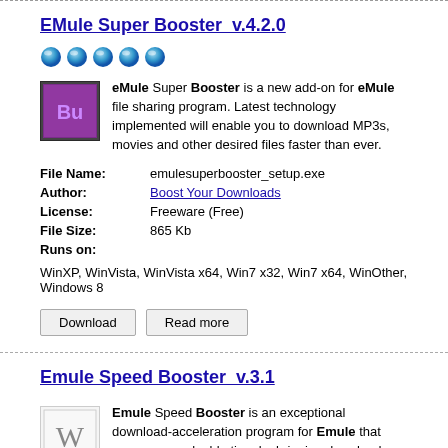EMule Super Booster  v.4.2.0
[Figure (illustration): Five blue sphere/star rating icons in a row]
eMule Super Booster is a new add-on for eMule file sharing program. Latest technology implemented will enable you to download MP3s, movies and other desired files faster than ever.
| File Name: | emulesuperbooster_setup.exe |
| Author: | Boost Your Downloads |
| License: | Freeware (Free) |
| File Size: | 865 Kb |
| Runs on: | WinXP, WinVista, WinVista x64, Win7 x32, Win7 x64, WinOther, Windows 8 |
Download   Read more
Emule Speed Booster  v.3.1
Emule Speed Booster is an exceptional download-acceleration program for Emule that saves your valuable time by bringing download speed to its maximum limit. Automatically finds more sources better than regular Emule. Emule